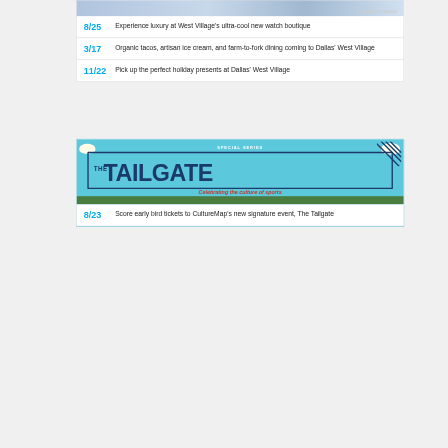[Figure (photo): Promotional image banner with 'PROMOTED SERIES' label]
8/25 Experience luxury at West Village's ultra-cool new watch boutique
3/17 Organic tacos, artisan ice cream, and farm-to-fork dining coming to Dallas' West Village
11/22 Pick up the perfect holiday presents at Dallas' West Village
[Figure (infographic): The Tailgate special series banner - Celebrating the culture of sports]
8/23 Score early bird tickets to CultureMap's new signature event, The Tailgate